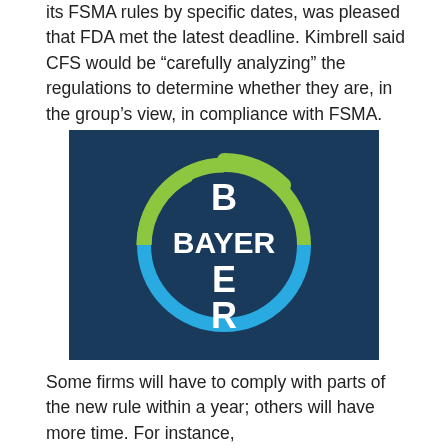its FSMA rules by specific dates, was pleased that FDA met the latest deadline. Kimbrell said CFS would be “carefully analyzing” the regulations to determine whether they are, in the group’s view, in compliance with FSMA.
[Figure (logo): Bayer company logo: dark navy blue square background with a circular logo. The circle has a green arc on top-left and a blue arc on bottom-right forming a ring. Inside the circle, the word BAYER is spelled out in a cross/plus pattern in white bold letters, with B at top, BAYER across the middle, E and R below.]
Some firms will have to comply with parts of the new rule within a year; others will have more time. For instance, small businesses will have more years from publication to